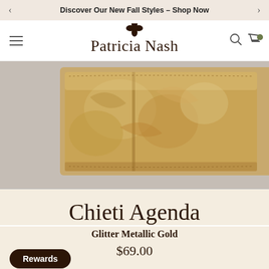Discover Our New Fall Styles – Shop Now
[Figure (logo): Patricia Nash brand logo with floral emblem and cursive script]
[Figure (photo): Close-up of a gold metallic embossed leather wallet/agenda against light gray background]
Chieti Agenda
Glitter Metallic Gold
$69.00
Rewards